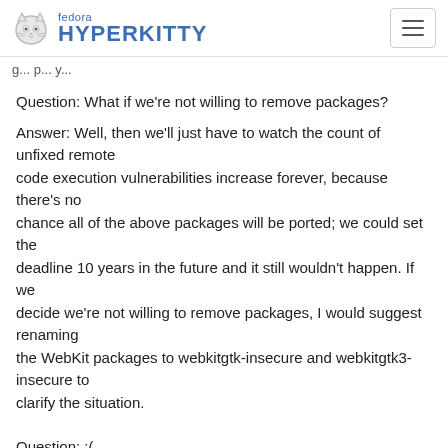fedora HYPERKITTY
g... p... y...
Question: What if we're not willing to remove packages?
Answer: Well, then we'll just have to watch the count of unfixed remote
code execution vulnerabilities increase forever, because there's no
chance all of the above packages will be ported; we could set the
deadline 10 years in the future and it still wouldn't happen. If we
decide we're not willing to remove packages, I would suggest renaming
the WebKit packages to webkitgtk-insecure and webkitgtk3-insecure to
clarify the situation.
Question: :(
Answer: \_(ツ)_/